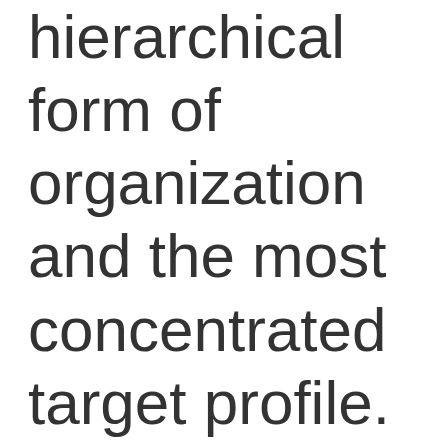hierarchical form of organization and the most concentrated target profile. Anyone want to venture a guess as to which